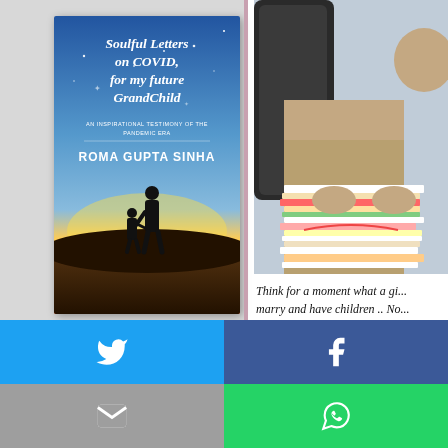[Figure (photo): Book cover: 'Soulful Letters on COVID, for my future GrandChild' by Roma Gupta Sinha. Blue sky background with silhouette of adult and child holding hands. Subtitle: An Inspirational Testimony of the Pandemic Era.]
[Figure (photo): Photo of a person sitting in a dark chair holding a large stack of colorful papers/letters.]
Think for a moment what a gi... marry and have children .. No... brains... Charn... to des... ry to th... o matt... ne suc...
[Figure (infographic): Social share buttons: Twitter (blue), Facebook (dark blue), Email (grey), WhatsApp (green), SMS (blue), Share/other (green)]